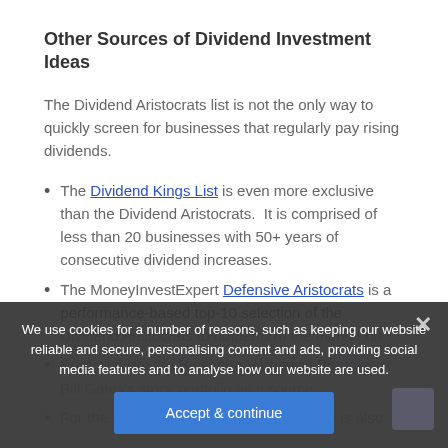Other Sources of Dividend Investment Ideas
The Dividend Aristocrats list is not the only way to quickly screen for businesses that regularly pay rising dividends.
The Dividend Kings List is even more exclusive than the Dividend Aristocrats. It is comprised of less than 20 businesses with 50+ years of consecutive dividend increases.
The MoneyInvestExpert Defensive Aristocrats is a performance-based top-10 selection of the Dividend Aristocrats to outperform the market on
Portfolios like the Berkshire Hathaway Portfolio or Bill Gates's stock portfolio as a source.
For the European focused investors there is also
We use cookies for a number of reasons, such as keeping our website reliable and secure, personalising content and ads, providing social media features and to analyse how our website are used.